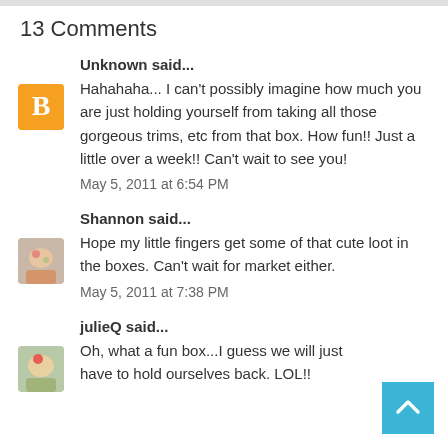13 Comments
Unknown said...
Hahahaha... I can't possibly imagine how much you are just holding yourself from taking all those gorgeous trims, etc from that box. How fun!! Just a little over a week!! Can't wait to see you!
May 5, 2011 at 6:54 PM
Shannon said...
Hope my little fingers get some of that cute loot in the boxes. Can't wait for market either.
May 5, 2011 at 7:38 PM
julieQ said...
Oh, what a fun box...I guess we will just have to hold ourselves back. LOL!!